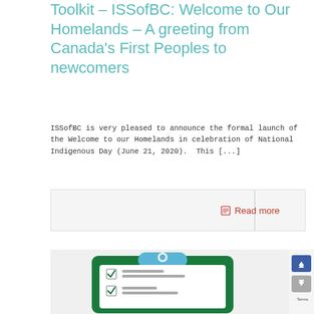Toolkit – ISSofBC: Welcome to Our Homelands – A greeting from Canada's First Peoples to newcomers
ISSofBC is very pleased to announce the formal launch of the Welcome to our Homelands in celebration of National Indigenous Day (June 21, 2020).  This [...]
Read more
[Figure (illustration): Illustration of a green clipboard with a checklist, featuring blue clip at top, white paper with checkboxes and gray lines representing text items]